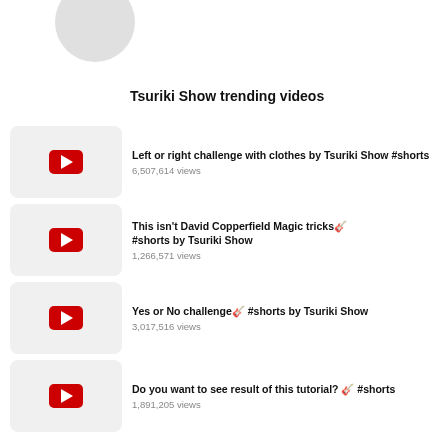[Figure (illustration): Partial profile circle/avatar at top left]
Tsuriki Show trending videos
Left or right challenge with clothes by Tsuriki Show #shorts — 6,507,614 views
This isn't David Copperfield Magic tricks🎱 #shorts by Tsuriki Show — 1,266,571 views
Yes or No challenge🎱 #shorts by Tsuriki Show — 3,017,516 views
Do you want to see result of this tutorial? 🎱 #shorts — 1,891,205 views